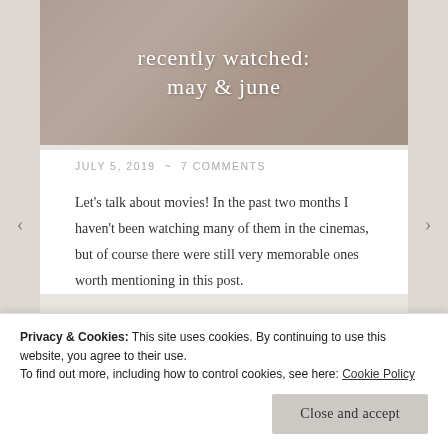[Figure (photo): Hero banner image with blurred desk/writing background, warm beige tones, overlaid with blog post title text in white]
recently watched:
may & june
JULY 5, 2019  ~  7 COMMENTS
Let's talk about movies! In the past two months I haven't been watching many of them in the cinemas, but of course there were still very memorable ones worth mentioning in this post.
Privacy & Cookies: This site uses cookies. By continuing to use this website, you agree to their use.
To find out more, including how to control cookies, see here: Cookie Policy
Close and accept